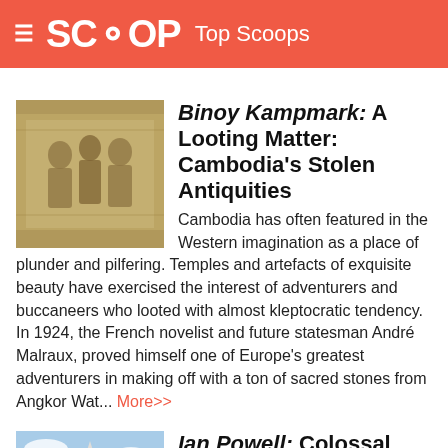SCOOP Top Scoops
[Figure (photo): Stone relief carvings from a Cambodian temple, showing ancient figures]
Binoy Kampmark: A Looting Matter: Cambodia's Stolen Antiquities
Cambodia has often featured in the Western imagination as a place of plunder and pilfering. Temples and artefacts of exquisite beauty have exercised the interest of adventurers and buccaneers who looted with almost kleptocratic tendency. In 1924, the French novelist and future statesman André Malraux, proved himself one of Europe's greatest adventurers in making off with a ton of sacred stones from Angkor Wat... More>>
[Figure (photo): Photo of a building with blue sky, second article thumbnail]
Ian Powell: Colossal 'Porkies'